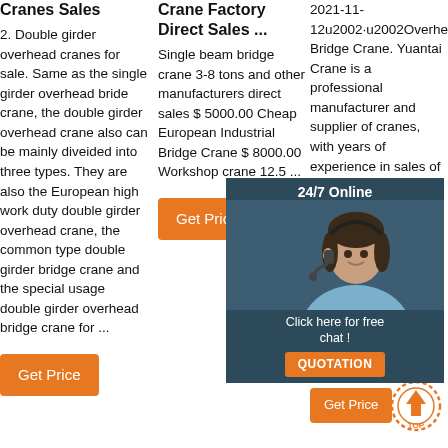Cranes Sales
2. Double girder overhead cranes for sale. Same as the single girder overhead bride crane, the double girder overhead crane also can be mainly diveided into three types. They are also the European high work duty double girder overhead crane, the common type double girder bridge crane and the special usage double girder overhead bridge crane for ...
Crane Factory Direct Sales ...
Single beam bridge crane 3-8 tons and other manufacturers direct sales $ 5000.00 Cheap European Industrial Bridge Crane $ 8000.00 Workshop crane 12.5 ...
2021-11-12u2002·u2002Overhead Bridge Crane. Yuantai Crane is a professional manufacturer and supplier of cranes, with years of experience in sales of overhead cranes. It can manufacture and maintain single beam overhead cranes and double beam overhead cranes. Single Girder Overhead Crane: lifting capacity is 1-32 tons;
[Figure (photo): 24/7 Online chat popup with woman wearing headset, dark teal background, with orange QUOTATION button]
[Figure (other): TOP scroll-to-top arrow icon with dotted orange circle]